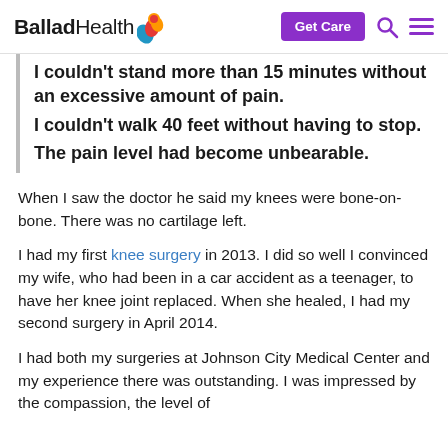Ballad Health — Get Care
I couldn't stand more than 15 minutes without an excessive amount of pain. I couldn't walk 40 feet without having to stop. The pain level had become unbearable.
When I saw the doctor he said my knees were bone-on-bone. There was no cartilage left.
I had my first knee surgery in 2013. I did so well I convinced my wife, who had been in a car accident as a teenager, to have her knee joint replaced. When she healed, I had my second surgery in April 2014.
I had both my surgeries at Johnson City Medical Center and my experience there was outstanding. I was impressed by the compassion, the level of